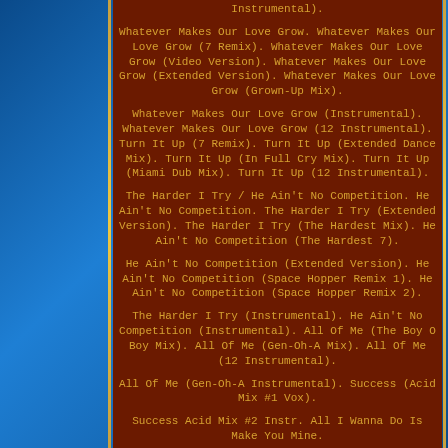Instrumental).
Whatever Makes Our Love Grow. Whatever Makes Our Love Grow (7 Remix). Whatever Makes Our Love Grow (Video Version). Whatever Makes Our Love Grow (Extended Version). Whatever Makes Our Love Grow (Grown-Up Mix).
Whatever Makes Our Love Grow (Instrumental). Whatever Makes Our Love Grow (12 Instrumental). Turn It Up (7 Remix). Turn It Up (Extended Dance Mix). Turn It Up (In Full Cry Mix). Turn It Up (Miami Dub Mix). Turn It Up (12 Instrumental).
The Harder I Try / He Ain't No Competition. He Ain't No Competition. The Harder I Try (Extended Version). The Harder I Try (The Hardest Mix). He Ain't No Competition (The Hardest 7).
He Ain't No Competition (Extended Version). He Ain't No Competition (Space Hopper Remix 1). He Ain't No Competition (Space Hopper Remix 2).
The Harder I Try (Instrumental). He Ain't No Competition (Instrumental). All Of Me (The Boy O Boy Mix). All Of Me (Gen-Oh-A Mix). All Of Me (12 Instrumental).
All Of Me (Gen-Oh-A Instrumental). Success (Acid Mix #1 Vox).
Success Acid Mix #2 Instr. All I Wanna Do Is Make You Mine.